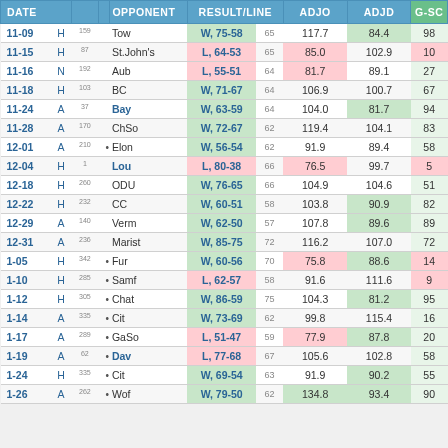| DATE |  |  |  | OPPONENT | RESULT/LINE |  | ADJO | ADJD | G-SC |
| --- | --- | --- | --- | --- | --- | --- | --- | --- | --- |
| 11-09 | H | 159 |  | Tow | W, 75-58 | 65 | 117.7 | 84.4 | 98 |
| 11-15 | H | 87 |  | St.John's | L, 64-53 | 65 | 85.0 | 102.9 | 10 |
| 11-16 | N | 192 |  | Aub | L, 55-51 | 64 | 81.7 | 89.1 | 27 |
| 11-18 | H | 103 |  | BC | W, 71-67 | 64 | 106.9 | 100.7 | 67 |
| 11-24 | A | 37 |  | Bay | W, 63-59 | 64 | 104.0 | 81.7 | 94 |
| 11-28 | A | 170 |  | ChSo | W, 72-67 | 62 | 119.4 | 104.1 | 83 |
| 12-01 | A | 210 | • | Elon | W, 56-54 | 62 | 91.9 | 89.4 | 58 |
| 12-04 | H | 1 |  | Lou | L, 80-38 | 66 | 76.5 | 99.7 | 5 |
| 12-18 | H | 260 |  | ODU | W, 76-65 | 66 | 104.9 | 104.6 | 51 |
| 12-22 | H | 232 |  | CC | W, 60-51 | 58 | 103.8 | 90.9 | 82 |
| 12-29 | A | 140 |  | Verm | W, 62-50 | 57 | 107.8 | 89.6 | 89 |
| 12-31 | A | 236 |  | Marist | W, 85-75 | 72 | 116.2 | 107.0 | 72 |
| 1-05 | H | 342 | • | Fur | W, 60-56 | 70 | 75.8 | 88.6 | 14 |
| 1-10 | H | 285 | • | Samf | L, 62-57 | 58 | 91.6 | 111.6 | 9 |
| 1-12 | H | 305 | • | Chat | W, 86-59 | 75 | 104.3 | 81.2 | 95 |
| 1-14 | A | 335 | • | Cit | W, 73-69 | 62 | 99.8 | 115.4 | 16 |
| 1-17 | A | 289 | • | GaSo | L, 51-47 | 59 | 77.9 | 87.8 | 20 |
| 1-19 | A | 62 | • | Dav | L, 77-68 | 67 | 105.6 | 102.8 | 58 |
| 1-24 | H | 335 | • | Cit | W, 69-54 | 63 | 91.9 | 90.2 | 55 |
| 1-26 | A | 262 | • | Wof | W, 79-50 | 62 | 134.8 | 93.4 | 90 |